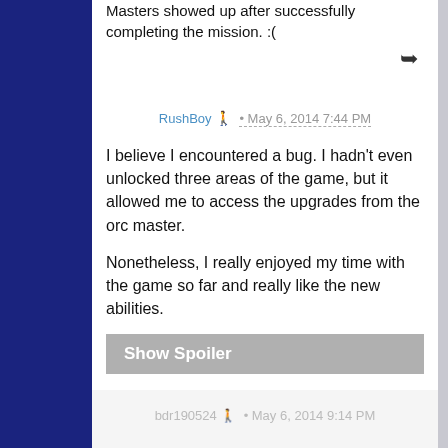Masters showed up after successfully completing the mission. :(
RushBoy • May 6, 2014 7:44 PM
I believe I encountered a bug. I hadn't even unlocked three areas of the game, but it allowed me to access the upgrades from the orc master.
Nonetheless, I really enjoyed my time with the game so far and really like the new abilities.
Show Spoiler
bdr190524 • May 6, 2014 9:14 PM